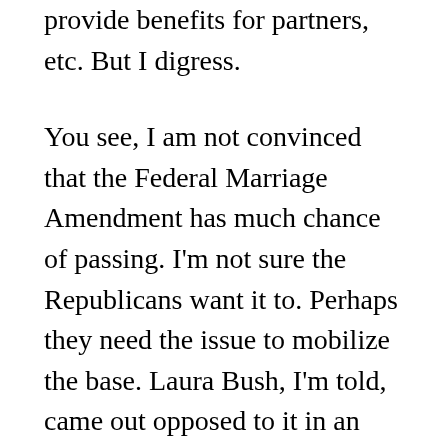provide benefits for partners, etc. But I digress.
You see, I am not convinced that the Federal Marriage Amendment has much chance of passing. I'm not sure the Republicans want it to. Perhaps they need the issue to mobilize the base. Laura Bush, I'm told, came out opposed to it in an interview (she's also opposed to overturning Roe v Wade). Dick Cheney famously demured when asked about the issue in the VP debates, saying only that he is proud of his lesbian daughter (who, with her partner, appeared on stage in celebrations), implying that he did not think the amendment was necessary. Lynn Cheney,